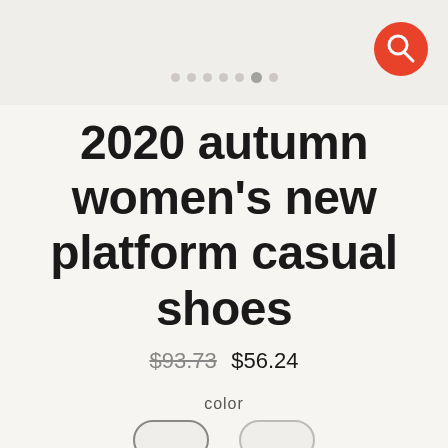[Figure (screenshot): Top image area with carousel dots and red search icon button]
2020 autumn women's new platform casual shoes
$93.73  $56.24
color
white  black